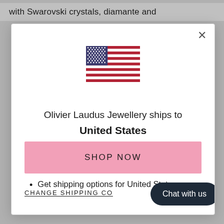with Swarovski crystals, diamante and
[Figure (illustration): US flag SVG illustration]
Olivier Laudus Jewellery ships to United States
Shop in USD $
Get shipping options for United States
SHOP NOW
CHANGE SHIPPING CO...
Chat with us